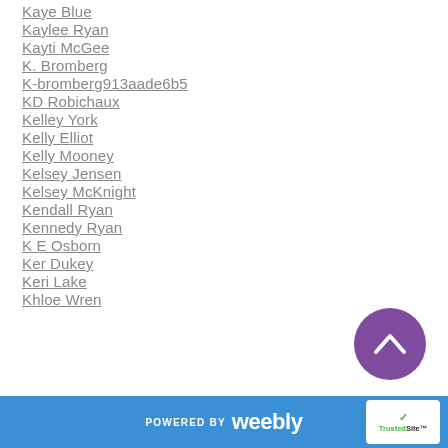Kaye Blue
Kaylee Ryan
Kayti McGee
K. Bromberg
K-bromberg913aade6b5
KD Robichaux
Kelley York
Kelly Elliot
Kelly Mooney
Kelsey Jensen
Kelsey McKnight
Kendall Ryan
Kennedy Ryan
K E Osborn
Ker Dukey
Keri Lake
Khloe Wren
POWERED BY weebly